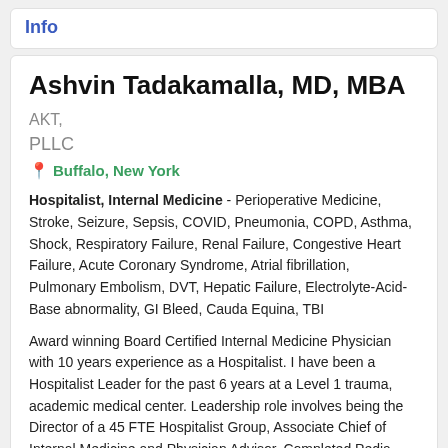Info
Ashvin Tadakamalla, MD, MBA AKT, PLLC
Buffalo, New York
Hospitalist, Internal Medicine - Perioperative Medicine, Stroke, Seizure, Sepsis, COVID, Pneumonia, COPD, Asthma, Shock, Respiratory Failure, Renal Failure, Congestive Heart Failure, Acute Coronary Syndrome, Atrial fibrillation, Pulmonary Embolism, DVT, Hepatic Failure, Electrolyte-Acid-Base abnormality, GI Bleed, Cauda Equina, TBI
Award winning Board Certified Internal Medicine Physician with 10 years experience as a Hospitalist. I have been a Hospitalist Leader for the past 6 years at a Level 1 trauma, academic medical center. Leadership role involves being the Director of a 45 FTE Hospitalist Group, Associate Chief of Internal Medicine and Physician Advisor. Completed Pedia General Surgery Residency at Saint Joseph Me...